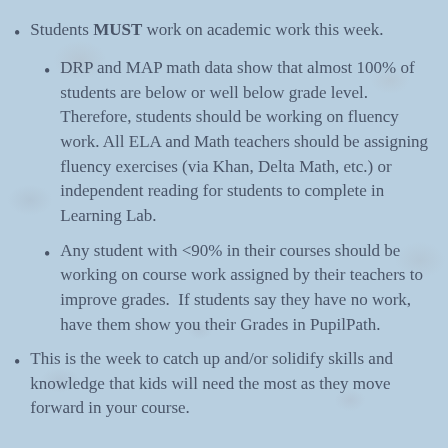Students MUST work on academic work this week.
DRP and MAP math data show that almost 100% of students are below or well below grade level.  Therefore, students should be working on fluency work. All ELA and Math teachers should be assigning fluency exercises (via Khan, Delta Math, etc.) or independent reading for students to complete in Learning Lab.
Any student with <90% in their courses should be working on course work assigned by their teachers to improve grades.  If students say they have no work, have them show you their Grades in PupilPath.
This is the week to catch up and/or solidify skills and knowledge that kids will need the most as they move forward in your course.